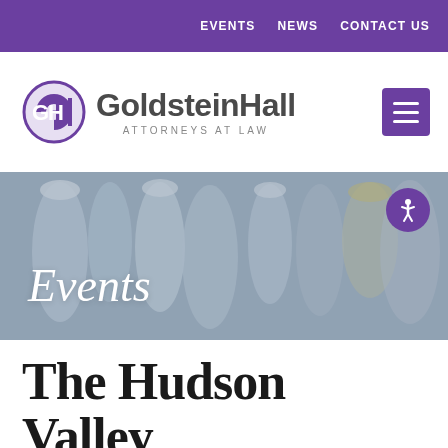EVENTS   NEWS   CONTACT US
[Figure (logo): GoldsteinHall Attorneys at Law logo with GH circular purple emblem]
[Figure (photo): Blurred pharmacy/medicine bottles background image with 'Events' text overlay]
The Hudson Valley